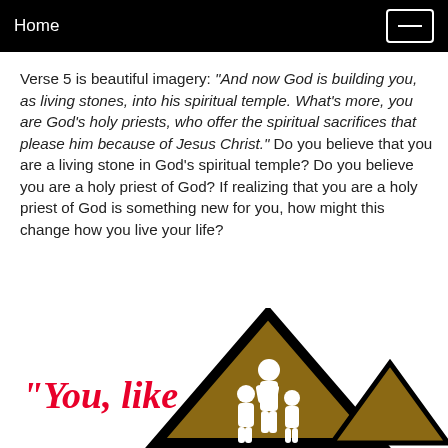Home
Verse 5 is beautiful imagery: "And now God is building you, as living stones, into his spiritual temple. What's more, you are God's holy priests, who offer the spiritual sacrifices that please him because of Jesus Christ." Do you believe that you are a living stone in God's spiritual temple? Do you believe you are a holy priest of God? If realizing that you are a holy priest of God is something new for you, how might this change how you live your life?
[Figure (illustration): Triangle/church graphic with figures inside, and red italic text 'You, like' at bottom left]
"You, like